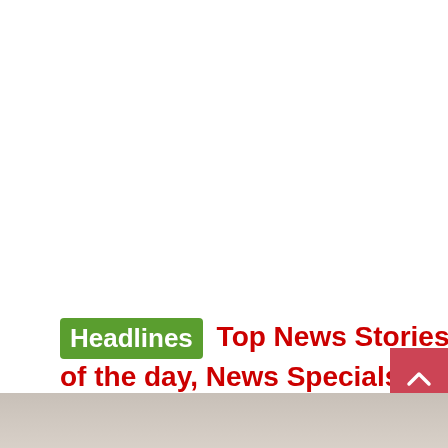Headlines  Top News Stories of the day, News Specials, Breaking News
[Figure (photo): Partial photo strip visible at the bottom of the page, showing people in a news context]